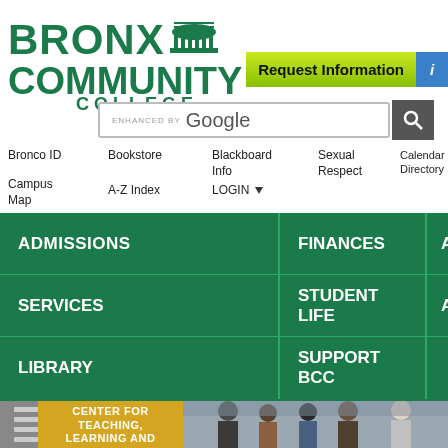[Figure (logo): Bronx Community College logo with building icon and text]
[Figure (screenshot): Request Information button with green gradient and blue info circle]
[Figure (screenshot): Enhanced by Google search bar with search button]
Bronco ID
Bookstore
Blackboard Info
Sexual Respect
Calendar Directory
Campus Map
A-Z Index
LOGIN
ADMISSIONS | FINANCES | ACADEMICS | SERVICES | STUDENT LIFE | ATHLETICS | LIBRARY | SUPPORT BCC
[Figure (screenshot): Center for Teaching, Learning and screenshot of college event with faculty and students]
CENTER FOR TEACHING, LEARNING AND